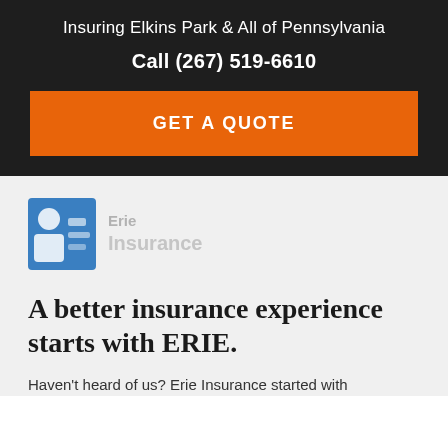Insuring Elkins Park & All of Pennsylvania
Call (267) 519-6610
GET A QUOTE
[Figure (logo): Erie Insurance logo — blue square icon with stylized figure on left, blurred gray text wordmark on right]
A better insurance experience starts with ERIE.
Haven't heard of us? Erie Insurance started with